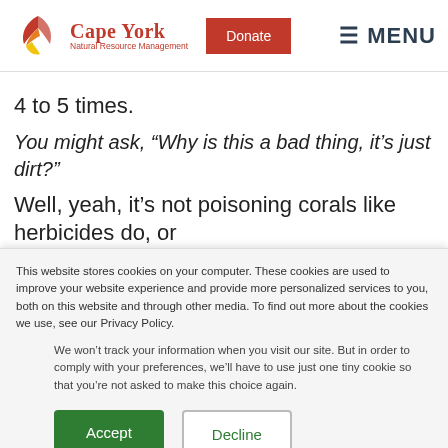Cape York Natural Resource Management — Donate — MENU
4 to 5 times.
You might ask, “Why is this a bad thing, it’s just dirt?”
Well, yeah, it’s not poisoning corals like herbicides do, or causing excessive algal growth like nitrogen does, but the
This website stores cookies on your computer. These cookies are used to improve your website experience and provide more personalized services to you, both on this website and through other media. To find out more about the cookies we use, see our Privacy Policy.
We won’t track your information when you visit our site. But in order to comply with your preferences, we’ll have to use just one tiny cookie so that you’re not asked to make this choice again.
Accept
Decline